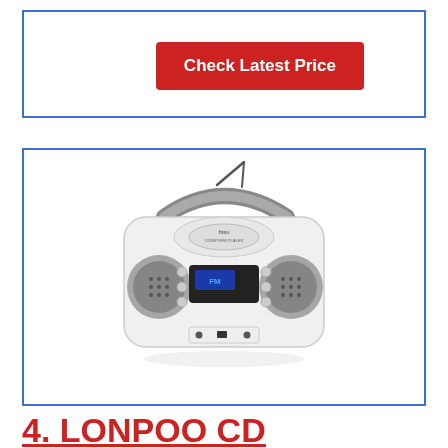[Figure (other): Red button with white text 'Check Latest Price' inside a blue-bordered white box]
[Figure (photo): White and gray LONPOO/hisu portable CD boombox with handle, radio antenna, LCD display, and control buttons, inside a blue-bordered white box]
4. LONPOO CD